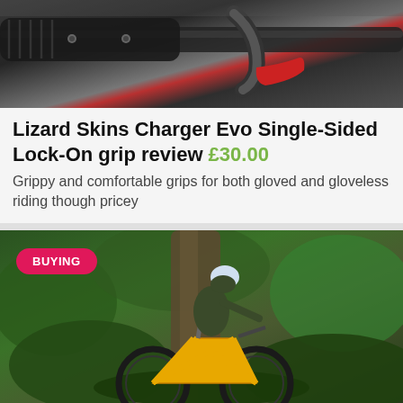[Figure (photo): Close-up photo of bicycle handlebar grips and brake lever, dark metallic components with a red accent]
Lizard Skins Charger Evo Single-Sided Lock-On grip review £30.00
Grippy and comfortable grips for both gloved and gloveless riding though pricey
[Figure (photo): Mountain biker in green jacket and helmet riding a yellow hardtail mountain bike on a forest trail surrounded by green foliage, with a BUYING badge overlay]
Best hardtail mountain bikes 2022 hardtails for every budget
Everything you need to know about buying your first hardtail mountain bike